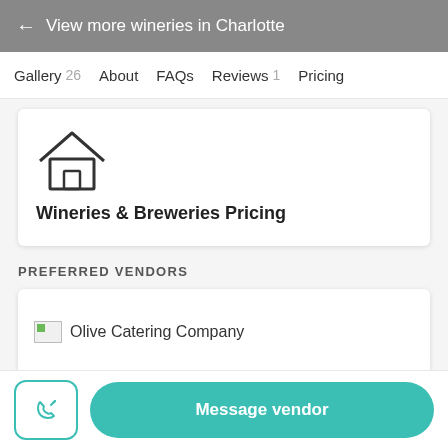← View more wineries in Charlotte
Gallery 26
About
FAQs
Reviews 1
Pricing
[Figure (illustration): House icon outline]
Wineries & Breweries Pricing
PREFERRED VENDORS
Olive Catering Company
Message vendor